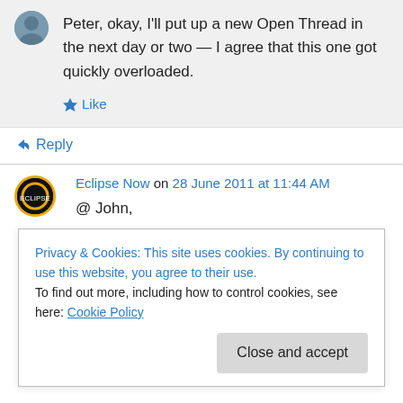Peter, okay, I'll put up a new Open Thread in the next day or two — I agree that this one got quickly overloaded.
Like
Reply
Eclipse Now on 28 June 2011 at 11:44 AM
@ John,
Privacy & Cookies: This site uses cookies. By continuing to use this website, you agree to their use.
To find out more, including how to control cookies, see here: Cookie Policy
Close and accept